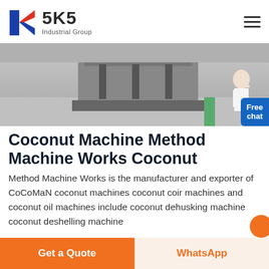SKS Industrial Group
[Figure (photo): Industrial machine equipment photographed in a factory setting, showing a metal machine base on a grey floor with a green stripe, and a person in the background]
Coconut Machine Method Machine Works Coconut
Method Machine Works is the manufacturer and exporter of CoCoMaN coconut machines coconut coir machines and coconut oil machines include coconut dehusking machine coconut deshelling machine